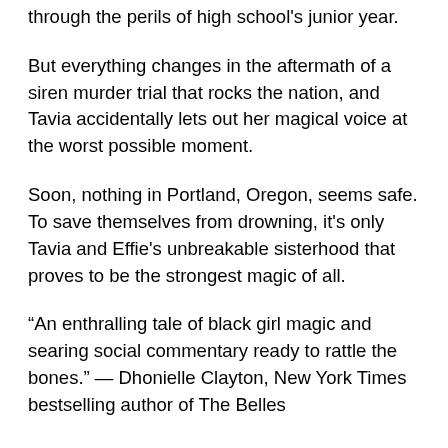through the perils of high school's junior year.
But everything changes in the aftermath of a siren murder trial that rocks the nation, and Tavia accidentally lets out her magical voice at the worst possible moment.
Soon, nothing in Portland, Oregon, seems safe. To save themselves from drowning, it's only Tavia and Effie's unbreakable sisterhood that proves to be the strongest magic of all.
“An enthralling tale of black girl magic and searing social commentary ready to rattle the bones.” — Dhonielle Clayton, New York Times bestselling author of The Belles